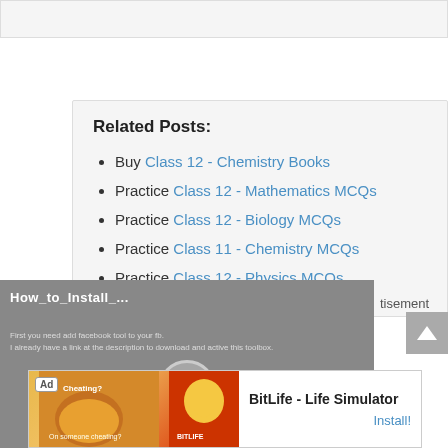Related Posts:
Buy Class 12 - Chemistry Books
Practice Class 12 - Mathematics MCQs
Practice Class 12 - Biology MCQs
Practice Class 11 - Chemistry MCQs
Practice Class 12 - Physics MCQs
[Figure (screenshot): Video player overlay showing 'How_to_Install_...' tutorial with play button on gray background]
Advertisement
[Figure (screenshot): Ad banner for BitLife - Life Simulator app with Install button]